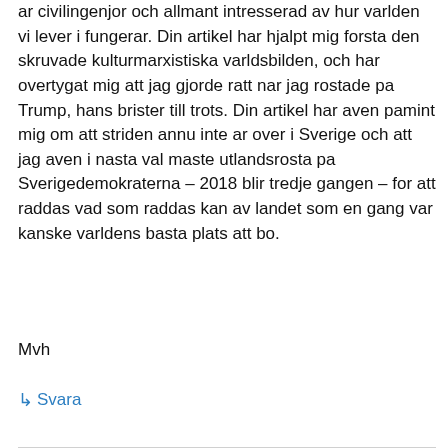ar civilingenjor och allmant intresserad av hur varlden vi lever i fungerar. Din artikel har hjalpt mig forsta den skruvade kulturmarxistiska varldsbilden, och har overtygat mig att jag gjorde ratt nar jag rostade pa Trump, hans brister till trots. Din artikel har aven pamint mig om att striden annu inte ar over i Sverige och att jag aven i nasta val maste utlandsrosta pa Sverigedemokraterna – 2018 blir tredje gangen – for att raddas vad som raddas kan av landet som en gang var kanske varldens basta plats att bo.
Mvh
↳ Svara